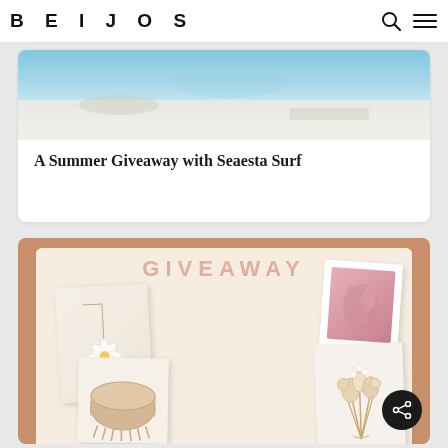BEIJOS
[Figure (photo): Partial photo of a pool/beach scene with blue water and sandy/white area, partially cropped at top]
A Summer Giveaway with Seaesta Surf
[Figure (photo): Giveaway collage image with tan/terracotta background, cream inner panel, text GIVEAWAY in faded pink letters, and four polaroid-style photos showing jewelry (daisy necklace, earrings), a woven basket, pink dried flowers, and dried floral bouquet]